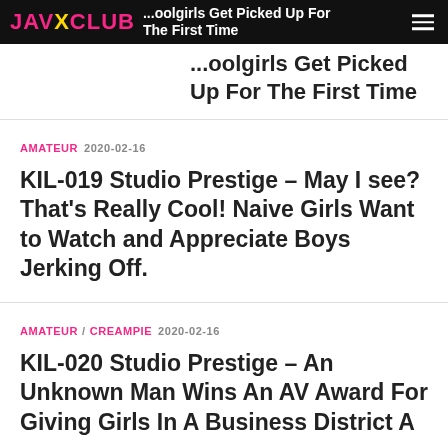JAV X CLUB — ...oolgirls Get Picked Up For The First Time
...oolgirls Get Picked Up For The First Time
AMATEUR  2020-02-16
KIL-019 Studio Prestige – May I see? That's Really Cool! Naive Girls Want to Watch and Appreciate Boys Jerking Off.
AMATEUR / CREAMPIE  2020-02-16
KIL-020 Studio Prestige – An Unknown Man Wins An AV Award For Giving Girls In A Business District A